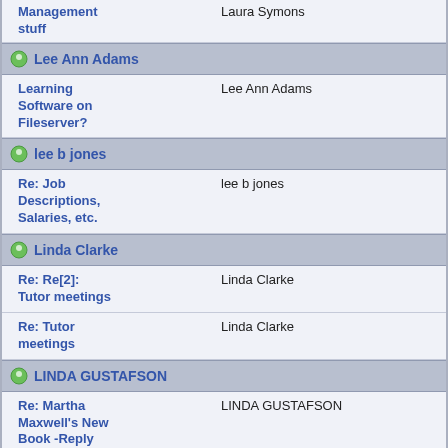Management stuff | Laura Symons
Lee Ann Adams (group header)
Learning Software on Fileserver? | Lee Ann Adams
lee b jones (group header)
Re: Job Descriptions, Salaries, etc. | lee b jones
Linda Clarke (group header)
Re: Re[2]: Tutor meetings | Linda Clarke
Re: Tutor meetings | Linda Clarke
LINDA GUSTAFSON (group header)
Re: Martha Maxwell's New Book -Reply | LINDA GUSTAFSON
Linda Mendez (group header)
Re: Tutor training | Linda Mendez